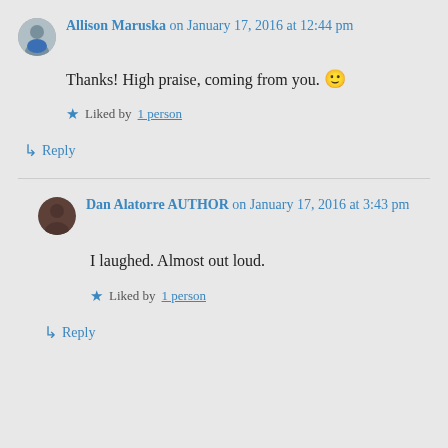Allison Maruska on January 17, 2016 at 12:44 pm
Thanks! High praise, coming from you. 🙂
Liked by 1 person
↳ Reply
Dan Alatorre AUTHOR on January 17, 2016 at 3:43 pm
I laughed. Almost out loud.
Liked by 1 person
↳ Reply